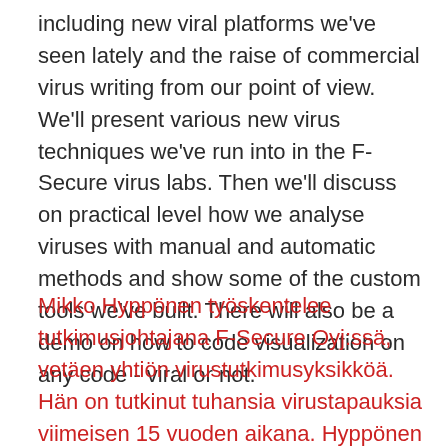including new viral platforms we've seen lately and the raise of commercial virus writing from our point of view. We'll present various new virus techniques we've run into in the F-Secure virus labs. Then we'll discuss on practical level how we analyse viruses with manual and automatic methods and show some of the custom tools we've built. There will also be a demo on how to code visualization on any code - viral or not.
Mikko Hyppönen työskentelee tutkimusjohtajana F-Secure Oyj:ssä, vetäen yhtiön virustutkimusyksikköä. Hän on tutkinut tuhansia virustapauksia viimeisen 15 vuoden aikana. Hyppönen on konsultoinut tietoturva-